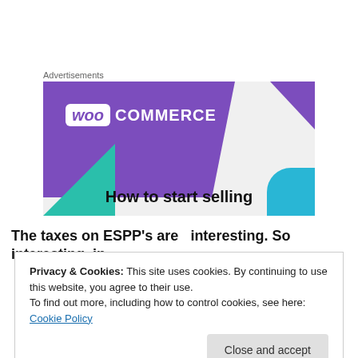Advertisements
[Figure (illustration): WooCommerce advertisement banner with purple background, WooCommerce logo, green triangle and blue arc shapes, and tagline 'How to start selling']
The taxes on ESPP's are  interesting. So interesting, in
Privacy & Cookies: This site uses cookies. By continuing to use this website, you agree to their use.
To find out more, including how to control cookies, see here: Cookie Policy
Close and accept